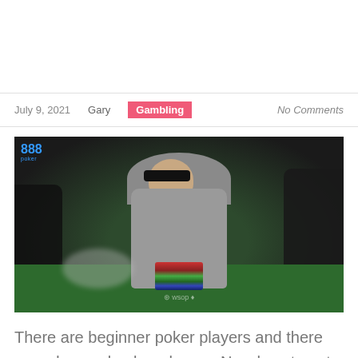July 9, 2021  Gary  Gambling  No Comments
[Figure (photo): A poker player wearing a gray hoodie and sunglasses sitting at a poker table with a stack of colorful chips. The 888 poker logo is visible in the top left corner. Other players are blurred in the foreground and background.]
There are beginner poker players and there are advanced poker players. Now how to get to being an advanced poker player is what